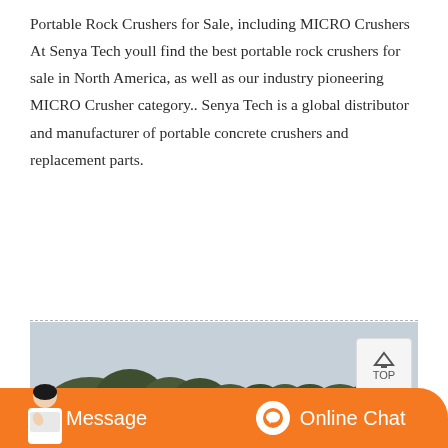Portable Rock Crushers for Sale, including MICRO Crushers At Senya Tech youll find the best portable rock crushers for sale in North America, as well as our industry pioneering MICRO Crusher category.. Senya Tech is a global distributor and manufacturer of portable concrete crushers and replacement parts.
[Figure (photo): Outdoor mining or quarry site with construction equipment (yellow machines), rocky dirt ground, trees in background, hazy sky. Blue equipment visible on right side.]